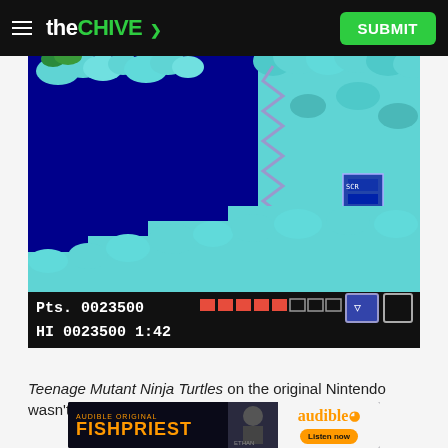the CHIVE  SUBMIT
[Figure (screenshot): Screenshot of Teenage Mutant Ninja Turtles NES game showing underwater level with teal/cyan seaweed terrain, dark blue water background, and HUD at bottom showing Pts. 0023500, health bar, HI 0023500, and timer 1:42]
Teenage Mutant Ninja Turtles on the original Nintendo wasn't super
[Figure (other): Audible advertisement banner for 'Fishpriest' audible original featuring orange text on dark background with character image and Listen now button]